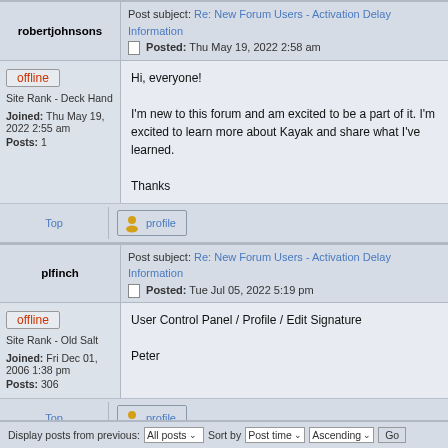Post subject: Re: New Forum Users - Activation Delay Information
Posted: Thu May 19, 2022 2:58 am
robertjohnsons
offline
Site Rank - Deck Hand
Joined: Thu May 19, 2022 2:55 am
Posts: 1
Hi, everyone!

I'm new to this forum and am excited to be a part of it. I'm excited to learn more about Kayak and share what I've learned.

Thanks
Top
profile
Post subject: Re: New Forum Users - Activation Delay Information
Posted: Tue Jul 05, 2022 5:19 pm
plfinch
offline
Site Rank - Old Salt
Joined: Fri Dec 01, 2006 1:38 pm
Posts: 306
User Control Panel / Profile / Edit Signature

Peter
Top
profile
Display posts from previous: All posts Sort by Post time Ascending Go